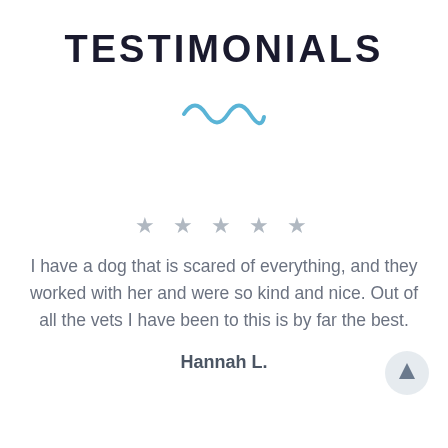TESTIMONIALS
[Figure (illustration): Blue squiggly wave/tilde decorative divider icon]
★ ★ ★ ★ ★
I have a dog that is scared of everything, and they worked with her and were so kind and nice. Out of all the vets I have been to this is by far the best.
Hannah L.